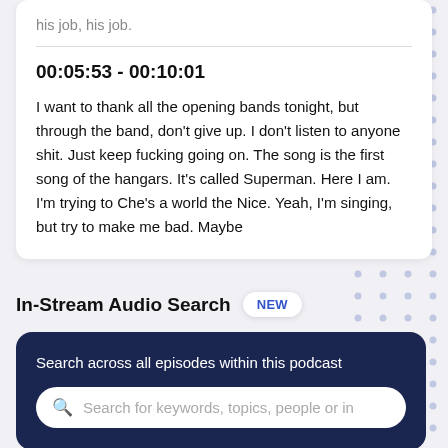his job, his job.
00:05:53 - 00:10:01
I want to thank all the opening bands tonight, but through the band, don't give up. I don't listen to anyone shit. Just keep fucking going on. The song is the first song of the hangars. It's called Superman. Here I am. I'm trying to Che's a world the Nice. Yeah, I'm singing, but try to make me bad. Maybe
In-Stream Audio Search NEW
Search across all episodes within this podcast
Search for keywords, topics, people or in